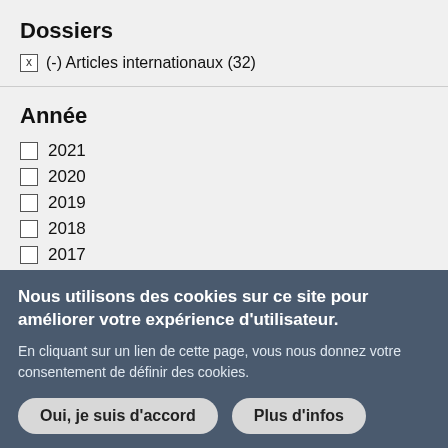Dossiers
x  (-) Articles internationaux (32)
Année
☐ 2021
☐ 2020
☐ 2019
☐ 2018
☐ 2017
x  (-) 2016
Nous utilisons des cookies sur ce site pour améliorer votre expérience d'utilisateur.
En cliquant sur un lien de cette page, vous nous donnez votre consentement de définir des cookies.
Oui, je suis d'accord   Plus d'infos